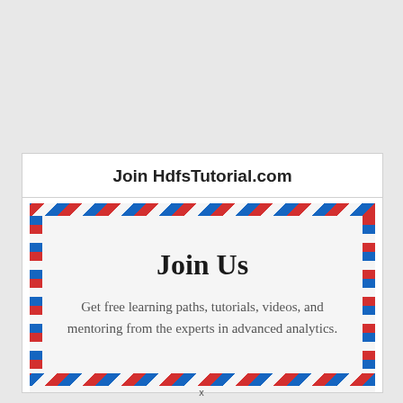Join HdfsTutorial.com
[Figure (illustration): Airmail-style bordered box with red and blue diagonal stripe borders on all four sides, containing centered text. The box has a light gray background.]
Join Us
Get free learning paths, tutorials, videos, and mentoring from the experts in advanced analytics.
x